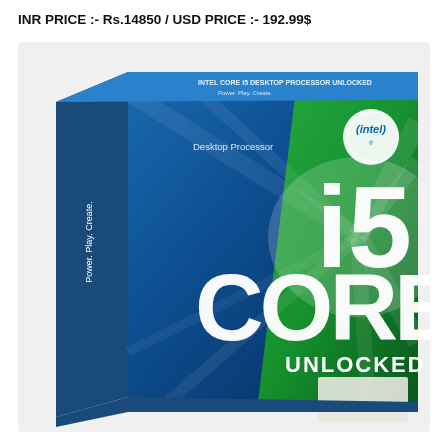INR PRICE :- Rs.14850 / USD PRICE :- 192.99$
[Figure (photo): Product photo of Intel Core i5 Unlocked Desktop Processor box. The box has a blue and green gradient design with the Intel logo, 'Core i5' branding in large white letters, 'UNLOCKED' text, and 'Desktop Processor' label. The box is shown in a 3D perspective view.]